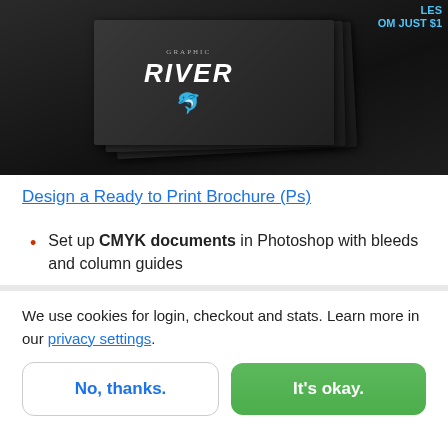[Figure (photo): Photo of stacked dark brochures with Graphic River logo and dolphin icon. Top right shows partial text 'LES FROM JUST $1'.]
Design a Ready to Print Brochure (Ps)
Set up CMYK documents in Photoshop with bleeds and column guides
We use cookies for login, checkout and stats. Learn more in our privacy settings.
No, thanks.
It's okay.